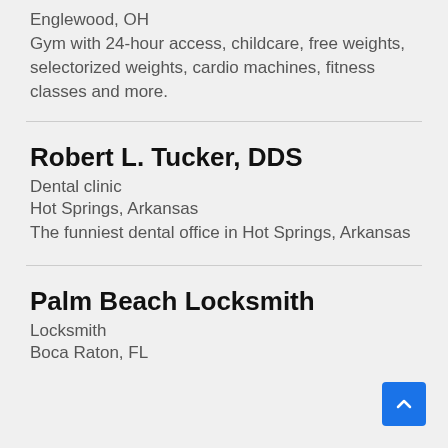Englewood, OH
Gym with 24-hour access, childcare, free weights, selectorized weights, cardio machines, fitness classes and more.
Robert L. Tucker, DDS
Dental clinic
Hot Springs, Arkansas
The funniest dental office in Hot Springs, Arkansas
Palm Beach Locksmith
Locksmith
Boca Raton, FL